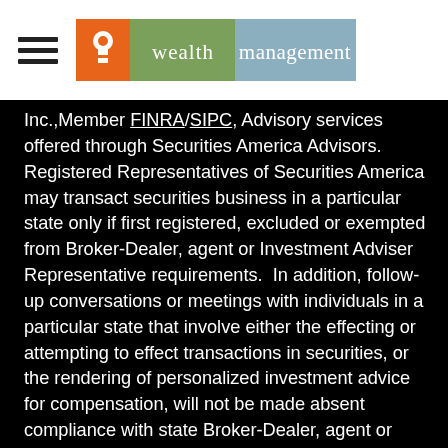wealth management [logo with hamburger menu icon]
Inc., Member FINRA/SIPC, Advisory services offered through Securities America Advisors. Registered Representatives of Securities America may transact securities business in a particular state only if first registered, excluded or exempted from Broker-Dealer, agent or Investment Adviser Representative requirements.  In addition, follow-up conversations or meetings with individuals in a particular state that involve either the effecting or attempting to effect transactions in securities, or the rendering of personalized investment advice for compensation, will not be made absent compliance with state Broker-Dealer, agent or Investment Adviser Representative registration requirements, or an applicable exemption or exclusion. Wealth Management Services, FMG, LLC and Securities America are separate companies.